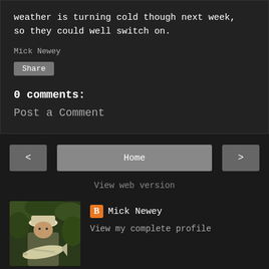weather is turning cold though next week, so they could well switch on.
Mick Newey
Share
0 comments:
Post a Comment
< Home >
View web version
[Figure (photo): Profile photo of Mick Newey holding a large fish outdoors]
Mick Newey
View my complete profile
Powered by Blogger.